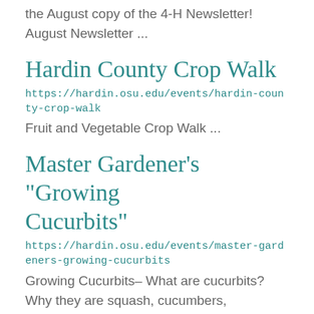the August copy of the 4-H Newsletter! August Newsletter ...
Hardin County Crop Walk
https://hardin.osu.edu/events/hardin-county-crop-walk
Fruit and Vegetable Crop Walk ...
Master Gardener's "Growing Cucurbits"
https://hardin.osu.edu/events/master-gardeners-growing-cucurbits
Growing Cucurbits- What are cucurbits? Why they are squash, cucumbers, pumpkins, melons and gourds, of course.